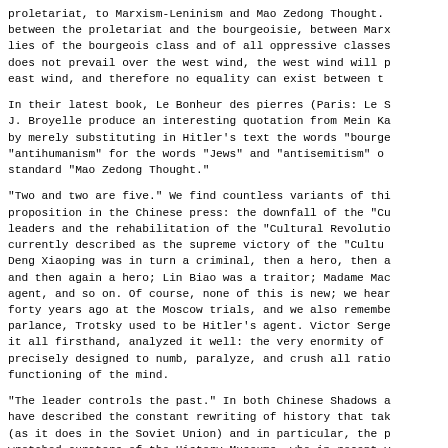proletariat, to Marxism-Leninism and Mao Zedong Thought. between the proletariat and the bourgeoisie, between Marx lies of the bourgeois class and of all oppressive classes does not prevail over the west wind, the west wind will p east wind, and therefore no equality can exist between t
In their latest book, Le Bonheur des pierres (Paris: Le S J. Broyelle produce an interesting quotation from Mein Ka by merely substituting in Hitler's text the words "bourge "antihumanism" for the words "Jews" and "antisemitism" o standard "Mao Zedong Thought."
"Two and two are five." We find countless variants of thi proposition in the Chinese press: the downfall of the "Cu leaders and the rehabilitation of the "Cultural Revolutio currently described as the supreme victory of the "Cultu Deng Xiaoping was in turn a criminal, then a hero, then a and then again a hero; Lin Biao was a traitor; Madame Mac agent, and so on. Of course, none of this is new; we hear forty years ago at the Moscow trials, and we also remembe parlance, Trotsky used to be Hitler's agent. Victor Serge it all firsthand, analyzed it well: the very enormity of precisely designed to numb, paralyze, and crush all ratio functioning of the mind.
"The leader controls the past." In both Chinese Shadows a have described the constant rewriting of history that tak (as it does in the Soviet Union) and in particular, the p wretched curators of the History Museums, who in recent y successively confronted with, for instance, the disgrace